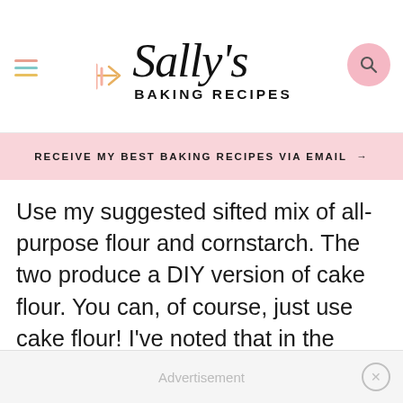Sally's Baking Recipes
RECEIVE MY BEST BAKING RECIPES VIA EMAIL →
Use my suggested sifted mix of all-purpose flour and cornstarch. The two produce a DIY version of cake flour. You can, of course, just use cake flour! I've noted that in the recipe below. Cake flour (or the DIY version) produces a lighter, softer, and much fluffier cake.
Advertisement